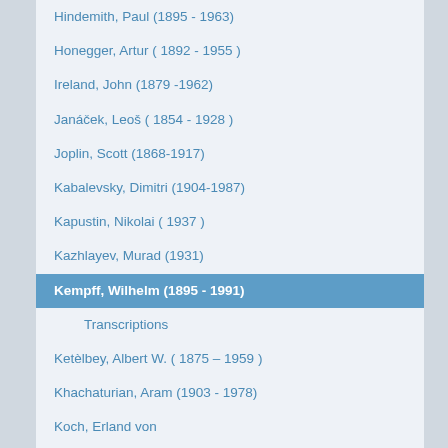Hindemith, Paul (1895 - 1963)
Honegger, Artur ( 1892 - 1955 )
Ireland, John (1879 -1962)
Janáček, Leoš ( 1854 - 1928 )
Joplin, Scott (1868-1917)
Kabalevsky, Dimitri (1904-1987)
Kapustin, Nikolai ( 1937 )
Kazhlayev, Murad (1931)
Kempff, Wilhelm (1895 - 1991)
Transcriptions
Ketèlbey, Albert W. ( 1875 – 1959 )
Khachaturian, Aram (1903 - 1978)
Koch, Erland von
Kodály, Zoltán (1882-1967)
Korngold, Erich Wolfgang (1897 - 1957)
Kosenko, Viktor (1896-1938)
Kuhlau, Friedrich (1786 – 1832)
Lecuona y Casado, Ernesto (1895-1963)
Lejsek, Vlastimil (1927)